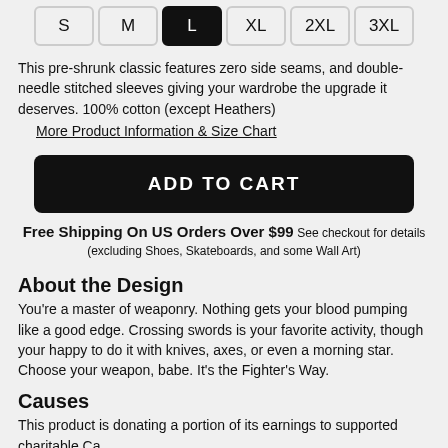| S | M | L | XL | 2XL | 3XL |
| --- | --- | --- | --- | --- | --- |
This pre-shrunk classic features zero side seams, and double-needle stitched sleeves giving your wardrobe the upgrade it deserves. 100% cotton (except Heathers)
More Product Information & Size Chart
ADD TO CART
Free Shipping On US Orders Over $99 See checkout for details (excluding Shoes, Skateboards, and some Wall Art)
About the Design
You're a master of weaponry. Nothing gets your blood pumping like a good edge. Crossing swords is your favorite activity, though your happy to do it with knives, axes, or even a morning star. Choose your weapon, babe. It's the Fighter's Way.
Causes
This product is donating a portion of its earnings to supported charitable Ca...